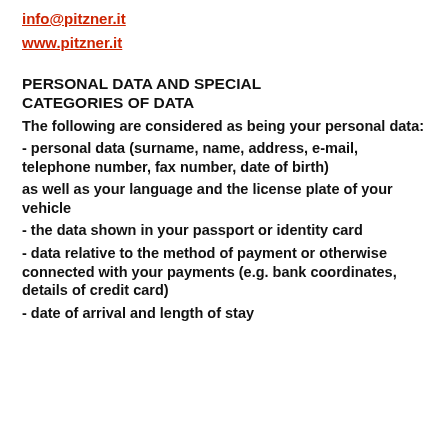info@pitzner.it
www.pitzner.it
PERSONAL DATA AND SPECIAL CATEGORIES OF DATA
The following are considered as being your personal data:
- personal data (surname, name, address, e-mail, telephone number, fax number, date of birth)
as well as your language and the license plate of your vehicle
- the data shown in your passport or identity card
- data relative to the method of payment or otherwise connected with your payments (e.g. bank coordinates, details of credit card)
- date of arrival and length of stay